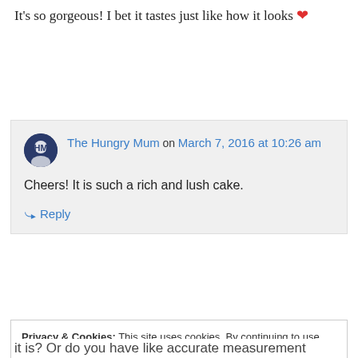It's so gorgeous! I bet it tastes just like how it looks ❤
↪ Reply
The Hungry Mum on March 7, 2016 at 10:26 am
Cheers! It is such a rich and lush cake.
↪ Reply
Privacy & Cookies: This site uses cookies. By continuing to use this website, you agree to their use. To find out more, including how to control cookies, see here: Cookie Policy
it is? Or do you have like accurate measurement